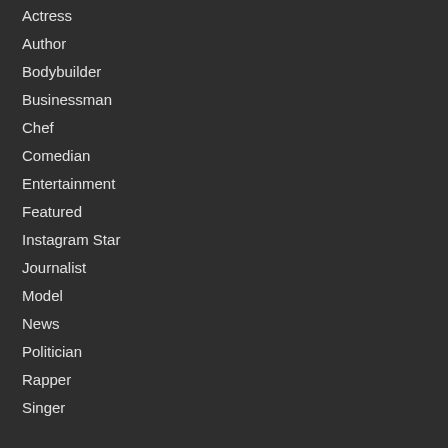Actress
Author
Bodybuilder
Businessman
Chef
Comedian
Entertainment
Featured
Instagram Star
Journalist
Model
News
Politician
Rapper
Singer